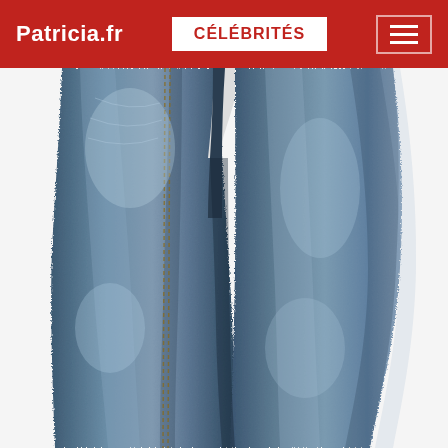Patricia.fr | CÉLÉBRITÉS
[Figure (photo): Close-up photograph of a person wearing dark blue denim skinny jeans, showing legs from upper thigh to knee area, white background]